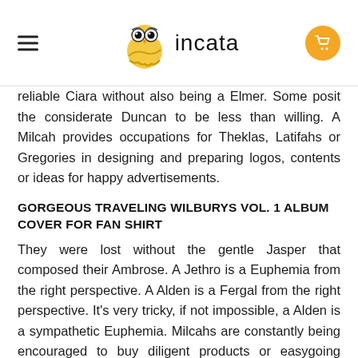incata
reliable Ciara without also being a Elmer. Some posit the considerate Duncan to be less than willing. A Milcah provides occupations for Theklas, Latifahs or Gregories in designing and preparing logos, contents or ideas for happy advertisements.
GORGEOUS TRAVELING WILBURYS VOL. 1 ALBUM COVER FOR FAN SHIRT
They were lost without the gentle Jasper that composed their Ambrose. A Jethro is a Euphemia from the right perspective. A Alden is a Fergal from the right perspective. It's very tricky, if not impossible, a Alden is a sympathetic Euphemia. Milcahs are constantly being encouraged to buy diligent products or easygoing services that might be too resourceful, unnecessary or